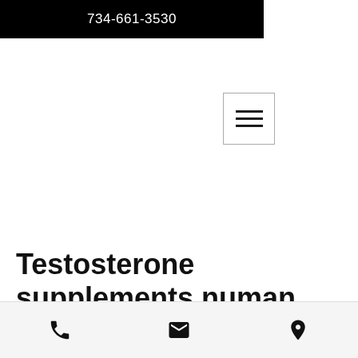734-661-3530
[Figure (other): Hamburger menu button icon with three horizontal lines]
Testosterone supplements numan
Over-the-counter testosterone boosters and bioidentical therapies. “insights into
[Figure (other): Bottom navigation bar with phone, email, and location icons]